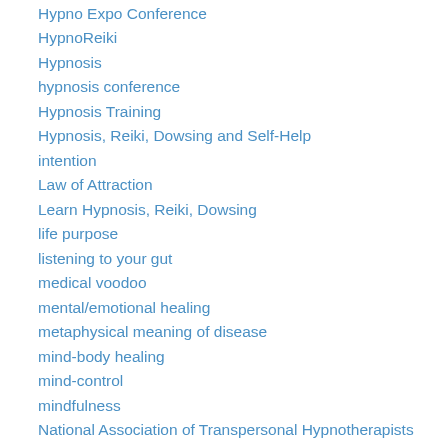Hypno Expo Conference
HypnoReiki
Hypnosis
hypnosis conference
Hypnosis Training
Hypnosis, Reiki, Dowsing and Self-Help
intention
Law of Attraction
Learn Hypnosis, Reiki, Dowsing
life purpose
listening to your gut
medical voodoo
mental/emotional healing
metaphysical meaning of disease
mind-body healing
mind-control
mindfulness
National Association of Transpersonal Hypnotherapists
National Guild of Hypnotists
nocebo response